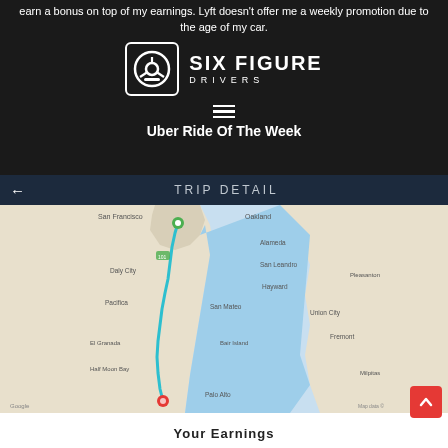earn a bonus on top of my earnings. Lyft doesn't offer me a weekly promotion due to the age of my car.
[Figure (logo): Six Figure Drivers logo with steering wheel icon and text 'SIX FIGURE DRIVERS']
Uber Ride Of The Week
[Figure (screenshot): Uber app Trip Detail screen showing a map of the San Francisco Bay Area with a route traced from San Francisco south along the peninsula to Palo Alto. Green marker at start in San Francisco, red marker at end near Palo Alto. Map shows cities including Oakland, Alameda, San Leandro, Hayward, Pleasanton, Fremont, Milpitas, Palo Alto, Bair Island, San Mateo, Half Moon Bay, Pacifica, Daly City.]
Your Earnings